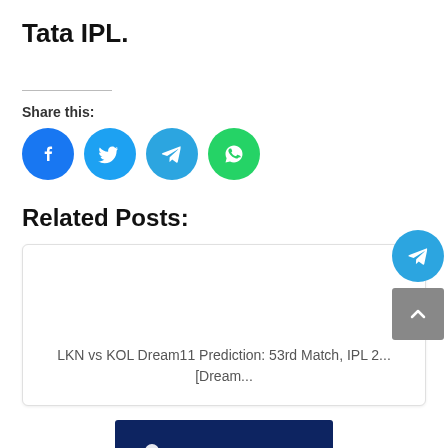Tata IPL.
Share this:
[Figure (infographic): Social share buttons: Facebook (blue circle), Twitter (cyan circle), Telegram (cyan circle), WhatsApp (green circle)]
Related Posts:
[Figure (other): Related post card: LKN vs KOL Dream11 Prediction: 53rd Match, IPL 2... [Dream...]
[Figure (other): Related post card with IPL 2022 Teams & Squad banner image on dark blue background]